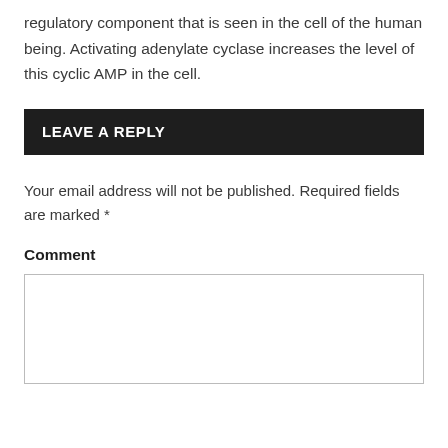regulatory component that is seen in the cell of the human being. Activating adenylate cyclase increases the level of this cyclic AMP in the cell.
LEAVE A REPLY
Your email address will not be published. Required fields are marked *
Comment